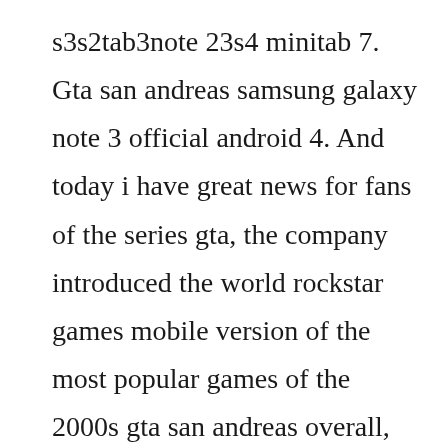s3s2tab3note 23s4 minitab 7. Gta san andreas samsung galaxy note 3 official android 4. And today i have great news for fans of the series gta, the company introduced the world rockstar games mobile version of the most popular games of the 2000s gta san andreas overall, the game was completely copied from an older version, but the features are still present, try to understand everything in order. Enter download mode in samsung galaxy s3 mini i8190. Setting all setting to max including resolution makes gta san andreas